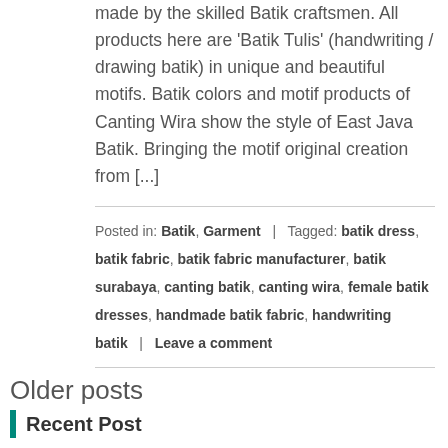made by the skilled Batik craftsmen. All products here are 'Batik Tulis' (handwriting / drawing batik) in unique and beautiful motifs. Batik colors and motif products of Canting Wira show the style of East Java Batik. Bringing the motif original creation from [...]
Posted in: Batik, Garment  |  Tagged: batik dress, batik fabric, batik fabric manufacturer, batik surabaya, canting batik, canting wira, female batik dresses, handmade batik fabric, handwriting batik  |  Leave a comment
Older posts
Recent Post